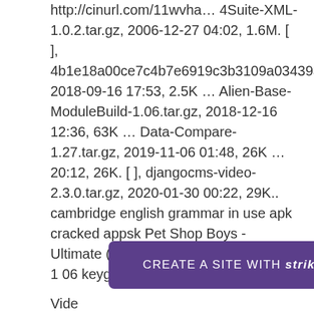http://cinurl.com/11wvha… 4Suite-XML-1.0.2.tar.gz, 2006-12-27 04:02, 1.6M. [ ], 4b1e18a00ce7c4b7e6919c3b3109a034393b805a.patch, 2018-09-16 17:53, 2.5K … Alien-Base-ModuleBuild-1.06.tar.gz, 2018-12-16 12:36, 63K … Data-Compare-1.27.tar.gz, 2019-11-06 01:48, 26K … 20:12, 26K. [ ], djangocms-video-2.3.0.tar.gz, 2020-01-30 00:22, 29K.. cambridge english grammar in use apk cracked appsk Pet Shop Boys - Ultimate (2010).torrent video comparer 1 06 keygen 26k dt11 img pes 2013…
[Figure (other): Purple banner advertisement: 'CREATE A SITE WITH strikingly' on a rounded purple rectangle]
Vide